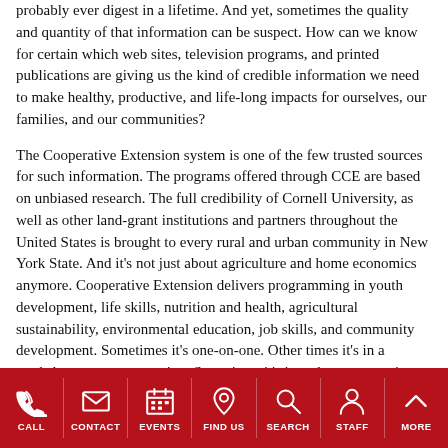probably ever digest in a lifetime. And yet, sometimes the quality and quantity of that information can be suspect. How can we know for certain which web sites, television programs, and printed publications are giving us the kind of credible information we need to make healthy, productive, and life-long impacts for ourselves, our families, and our communities?
The Cooperative Extension system is one of the few trusted sources for such information. The programs offered through CCE are based on unbiased research. The full credibility of Cornell University, as well as other land-grant institutions and partners throughout the United States is brought to every rural and urban community in New York State. And it's not just about agriculture and home economics anymore. Cooperative Extension delivers programming in youth development, life skills, nutrition and health, agricultural sustainability, environmental education, job skills, and community development. Sometimes it's one-on-one. Other times it's in a workshop, group or meeting. Sometimes it's in a classroom, or in a field, or on the phone. It's an educator or program assistant, or a volunteer. Sometimes it's via satellite or on the web. It really doesn't matter, because it's all about broadening knowledge. Cooperative Extension is the door to knowledge in your neighborhood. It has stood the test of time for over 90 years. And even though times change, the need for knowledge never does.
Check out the Cornell University website for more information on Cooperative
CALL | CONTACT | EVENTS | FIND US | SEARCH | STAFF | MORE